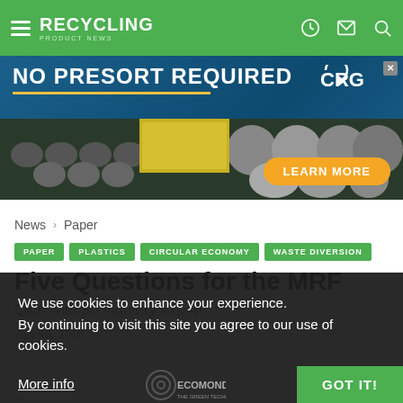RECYCLING PRODUCT NEWS
[Figure (photo): Advertisement banner: NO PRESORT REQUIRED with machinery imagery and LEARN MORE button, CRG logo]
News > Paper
PAPER  PLASTICS  CIRCULAR ECONOMY  WASTE DIVERSION
Five Questions for the MRF
Q&A with an industry expert
July 16, 2018
We use cookies to enhance your experience. By continuing to visit this site you agree to our use of cookies.
More info  GOT IT!